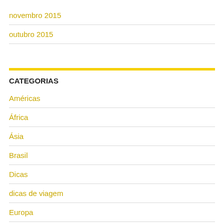novembro 2015
outubro 2015
CATEGORIAS
Américas
África
Ásia
Brasil
Dicas
dicas de viagem
Europa
Mensagem de Ano Novo